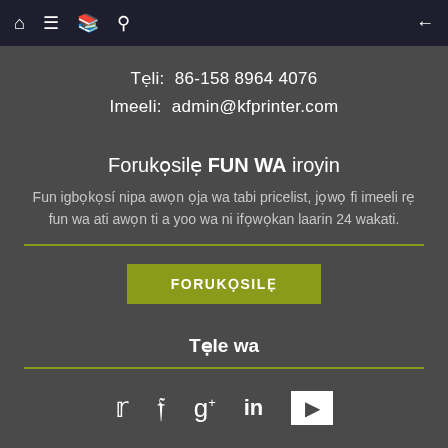Navigation bar with home, menu, book, search, and back icons
Teli:  86-158 8964 4076
Imeeli:  admin@kfprinter.com
Forukosile FUN WA iroyin
Fun igbokosi nipa awon oja wa tabi pricelist, jowo fi imeeli re fun wa ati awon ti a yoo wa ni ifowookan laarin 24 wakati.
[Figure (other): Olive/yellow-green horizontal divider line]
FORUKOSILE
Tele wa
[Figure (other): Olive/yellow-green horizontal divider line]
[Figure (other): Social media icons: Twitter, Facebook, Google+, LinkedIn, YouTube]